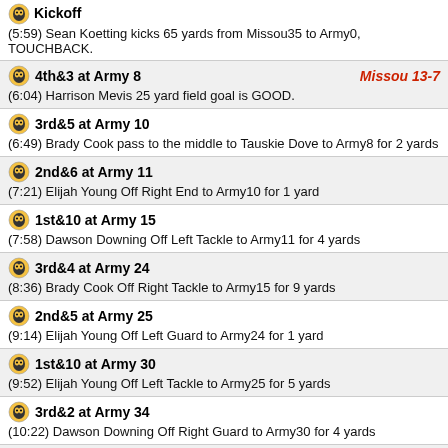Kickoff
(5:59) Sean Koetting kicks 65 yards from Missou35 to Army0, TOUCHBACK.
4th&3 at Army 8 | Missou 13-7
(6:04) Harrison Mevis 25 yard field goal is GOOD.
3rd&5 at Army 10
(6:49) Brady Cook pass to the middle to Tauskie Dove to Army8 for 2 yards
2nd&6 at Army 11
(7:21) Elijah Young Off Right End to Army10 for 1 yard
1st&10 at Army 15
(7:58) Dawson Downing Off Left Tackle to Army11 for 4 yards
3rd&4 at Army 24
(8:36) Brady Cook Off Right Tackle to Army15 for 9 yards
2nd&5 at Army 25
(9:14) Elijah Young Off Left Guard to Army24 for 1 yard
1st&10 at Army 30
(9:52) Elijah Young Off Left Tackle to Army25 for 5 yards
3rd&2 at Army 34
(10:22) Dawson Downing Off Right Guard to Army30 for 4 yards
2nd&11 at Army 43
(10:42) Brady Cook Off Right End to Army34 for 9 yards